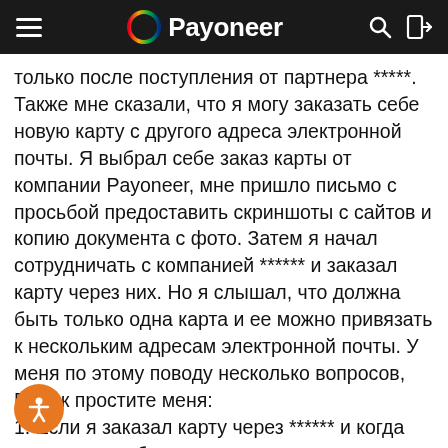Payoneer
только после поступления от партнера *****. Также мне сказали, что я могу заказать себе новую карту с другого адреса электронной почты. Я выбрал себе заказ карты от компании Payoneer, мне пришло письмо с просьбой предоставить скриншоты с сайтов и копию документа с фото. Затем я начал сотрудничать с компанией ****** и заказал карту через них. Но я слышал, что должна быть только одна карта и ее можно привязать к нескольким адресам электронной почты. У меня по этому поводу несколько вопросов, Вы уж простите меня:
1. Если я заказал карту через ****** и когда она придет я буду пополнять ее сам, рассчитываться ей в интернете и в торговых точках, буду пользоваться ей часто, но не буду получать платежи через партнера *, ее тоже заблокируют или это не будет считаться отсутствием финансовой активности? Или